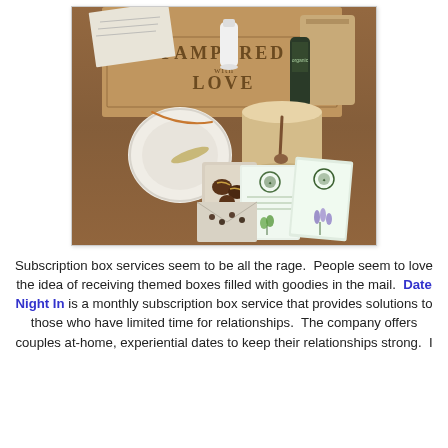[Figure (photo): A subscription box labeled 'PAMPERED with LOVE' on a wooden surface, containing various items including a round lidded container, a paper cup, small bottles, seed packets with garden-themed labels, and chocolate-covered treats in a small bag.]
Subscription box services seem to be all the rage.  People seem to love the idea of receiving themed boxes filled with goodies in the mail.  Date Night In is a monthly subscription box service that provides solutions to those who have limited time for relationships.  The company offers couples at-home, experiential dates to keep their relationships strong.  I